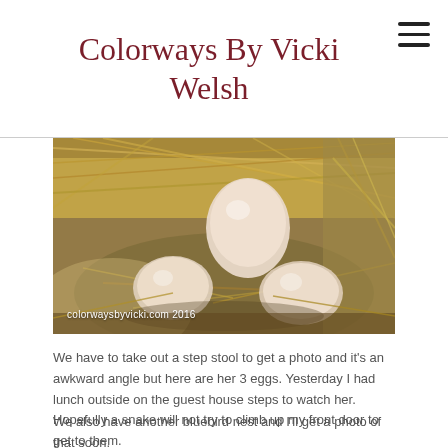Colorways By Vicki Welsh
[Figure (photo): Photo of three pale pink/cream eggs nestled in a bird nest made of straw and hay, with blurred background. Watermark reads: colorwaysbyvicki.com 2016]
We have to take out a step stool to get a photo and it's an awkward angle but here are her 3 eggs. Yesterday I had lunch outside on the guest house steps to watch her. Hopefully a snake will not try to climb up my front door to get to them.
We also have another bluebird nest and I'll get a photo of that soon.